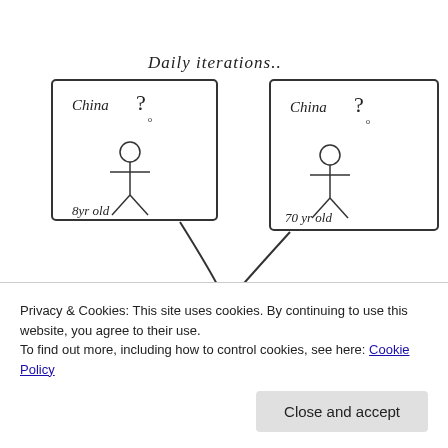[Figure (illustration): Hand-drawn illustration titled 'Daily iterations..' showing two panels at top: left panel with 'China ?' and a stick figure labeled '8yr old', right panel with 'China ?' and a stick figure labeled '70 yr old', two arrows pointing down to a middle panel with two stick figures and speech bubbles saying 'oh, you meant a plate?' and 'oh, you meant a country?'. At the bottom another partially visible panel with stick figures and text 'could end test' and 'That? it works!'.]
Privacy & Cookies: This site uses cookies. By continuing to use this website, you agree to their use.
To find out more, including how to control cookies, see here: Cookie Policy